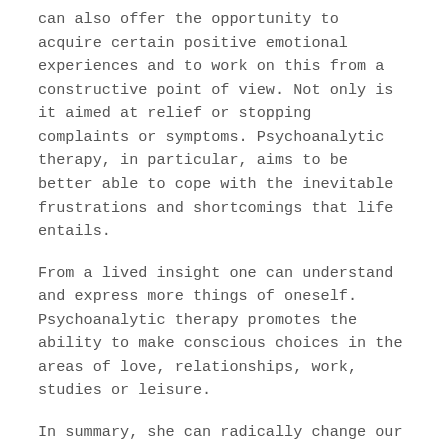can also offer the opportunity to acquire certain positive emotional experiences and to work on this from a constructive point of view. Not only is it aimed at relief or stopping complaints or symptoms. Psychoanalytic therapy, in particular, aims to be better able to cope with the inevitable frustrations and shortcomings that life entails.
From a lived insight one can understand and express more things of oneself. Psychoanalytic therapy promotes the ability to make conscious choices in the areas of love, relationships, work, studies or leisure.
In summary, she can radically change our dealings with our inner world and outer world.
Is not psychoanalytic therapy the same (and much more expensive) than a good conversation with good friends? Psychoanalytic therapy (like any other